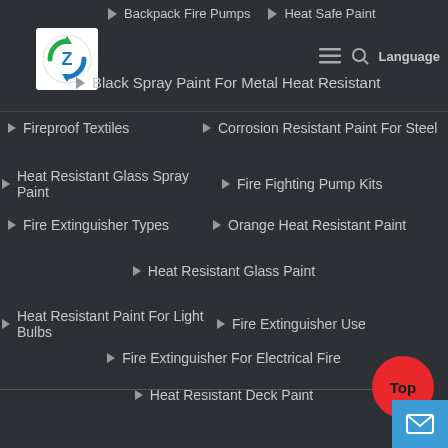[Figure (logo): Circular logo with green and blue arrows forming a recycle-like symbol with the letter Z, on white background]
Backpack Fire Pumps
Heat Safe Paint
Black Spray Paint For Metal Heat Resistant
Fireproof Textiles
Corrosion Resistant Paint For Steel
Heat Resistant Glass Spray Paint
Fire Fighting Pump Kits
Fire Extinguisher Types
Orange Heat Resistant Paint
Heat Resistant Glass Paint
Heat Resistant Paint For Light Bulbs
Fire Extinguisher Use
Fire Extinguisher For Electrical Fire
Heat Resistant Deck Paint